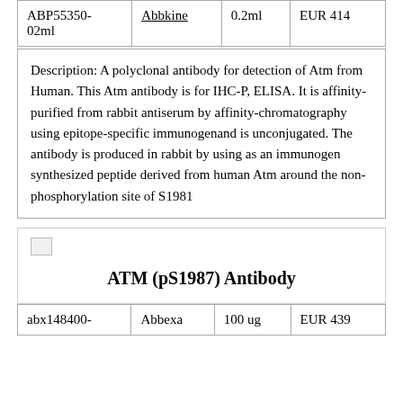| Product ID | Supplier | Volume | Price |
| --- | --- | --- | --- |
| ABP55350-02ml | Abbkine | 0.2ml | EUR 414 |
Description: A polyclonal antibody for detection of Atm from Human. This Atm antibody is for IHC-P, ELISA. It is affinity-purified from rabbit antiserum by affinity-chromatography using epitope-specific immunogenand is unconjugated. The antibody is produced in rabbit by using as an immunogen synthesized peptide derived from human Atm around the non-phosphorylation site of S1981
[Figure (photo): Product image placeholder for ATM (pS1987) Antibody]
ATM (pS1987) Antibody
| Product ID | Supplier | Volume | Price |
| --- | --- | --- | --- |
| abx148400- | Abbexa | 100 ug | EUR 439 |